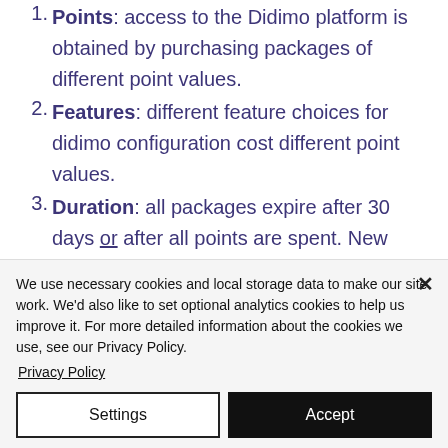1. Points: access to the Didimo platform is obtained by purchasing packages of different point values.
2. Features: different feature choices for didimo configuration cost different point values.
3. Duration: all packages expire after 30 days or after all points are spent. New packages can be purchased at any time.
We use necessary cookies and local storage data to make our site work. We'd also like to set optional analytics cookies to help us improve it. For more detailed information about the cookies we use, see our Privacy Policy.
Privacy Policy
Settings
Accept